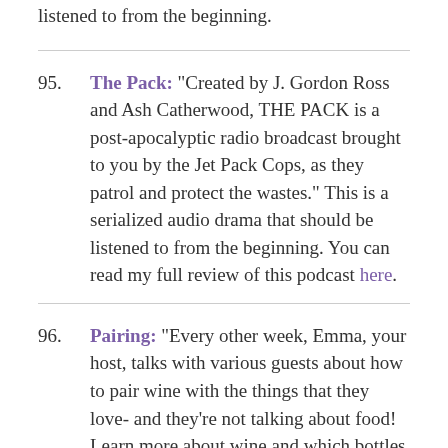listened to from the beginning.
95. The Pack: “Created by J. Gordon Ross and Ash Catherwood, THE PACK is a post-apocalyptic radio broadcast brought to you by the Jet Pack Cops, as they patrol and protect the wastes.” This is a serialized audio drama that should be listened to from the beginning. You can read my full review of this podcast here.
96. Pairing: “Every other week, Emma, your host, talks with various guests about how to pair wine with the things that they love- and they’re not talking about food! Learn more about wine and which bottles to look out for